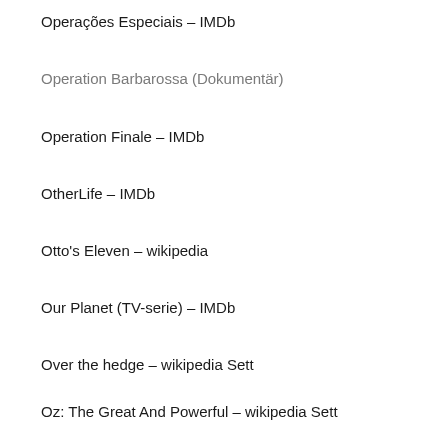Operações Especiais – IMDb
Operation Barbarossa (Dokumentär)
Operation Finale – IMDb
OtherLife – IMDb
Otto's Eleven – wikipedia
Our Planet (TV-serie) – IMDb
Over the hedge – wikipedia Sett
Oz: The Great And Powerful – wikipedia Sett
Pacific Rim – wikipedia Sett